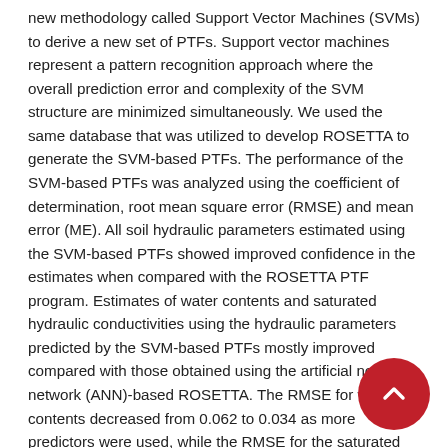new methodology called Support Vector Machines (SVMs) to derive a new set of PTFs. Support vector machines represent a pattern recognition approach where the overall prediction error and complexity of the SVM structure are minimized simultaneously. We used the same database that was utilized to develop ROSETTA to generate the SVM-based PTFs. The performance of the SVM-based PTFs was analyzed using the coefficient of determination, root mean square error (RMSE) and mean error (ME). All soil hydraulic parameters estimated using the SVM-based PTFs showed improved confidence in the estimates when compared with the ROSETTA PTF program. Estimates of water contents and saturated hydraulic conductivities using the hydraulic parameters predicted by the SVM-based PTFs mostly improved compared with those obtained using the artificial neural network (ANN)-based ROSETTA. The RMSE for water contents decreased from 0.062 to 0.034 as more predictors were used, while the RMSE for the saturated hydraulic conductivity decreased from 0.716 to 0.552 (dimensionless logL0 units). Similarly, the bias in the water contents estimated using the SVM-based PTF was reduced significantly compared with ROSETTA.